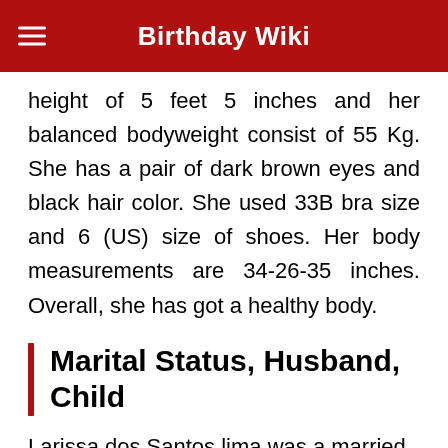Birthday Wiki
height of 5 feet 5 inches and her balanced bodyweight consist of 55 Kg. She has a pair of dark brown eyes and black hair color. She used 33B bra size and 6 (US) size of shoes. Her body measurements are 34-26-35 inches. Overall, she has got a healthy body.
Marital Status, Husband, Child
Larissa dos Santos lima was a married woman and she was married to Colt Johnson. They both were from Brazil, met for the first time...